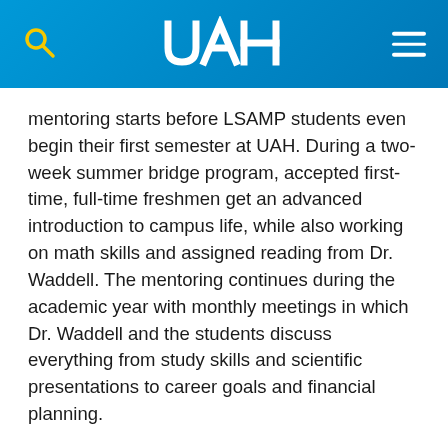UAH
mentoring starts before LSAMP students even begin their first semester at UAH. During a two-week summer bridge program, accepted first-time, full-time freshmen get an advanced introduction to campus life, while also working on math skills and assigned reading from Dr. Waddell. The mentoring continues during the academic year with monthly meetings in which Dr. Waddell and the students discuss everything from study skills and scientific presentations to career goals and financial planning.
Yet another essential form of mentoring involves the Adriel D. Johnson Sr. Fellows, students from the Minority Graduate Student Association who serve as mentors for LSAMP students. In conjunction with a dedicated budget line, Dr.